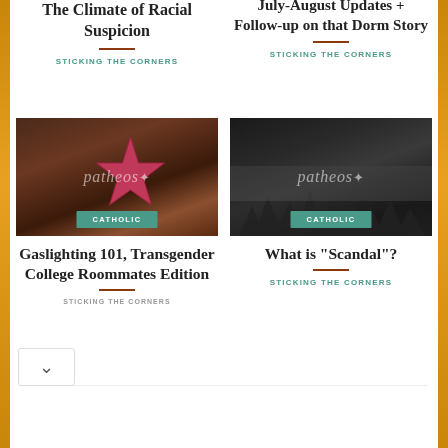The Climate of Racial Suspicion
STICKING THE CORNERS
July-August Updates + Follow-up on that Dorm Story
STICKING THE CORNERS
[Figure (photo): Patheos Catholic blog thumbnail showing a pink starfish and seashells on dark wood background with CATHOLIC badge overlay]
Gaslighting 101, Transgender College Roommates Edition
STICKING THE CORNERS
[Figure (photo): Patheos Catholic blog thumbnail showing misty dark forest/mountain landscape in black and white with CATHOLIC badge overlay]
What is "Scandal"?
STICKING THE CORNERS